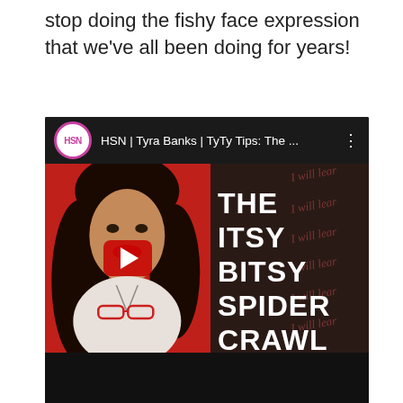stop doing the fishy face expression that we've all been doing for years!
[Figure (screenshot): YouTube video embed showing HSN channel video titled 'HSN | Tyra Banks | TyTy Tips: The ...' with a thumbnail of Tyra Banks in front of a red background next to text reading 'THE ITSY BITSY SPIDER CRAWL' with a red play button overlay]